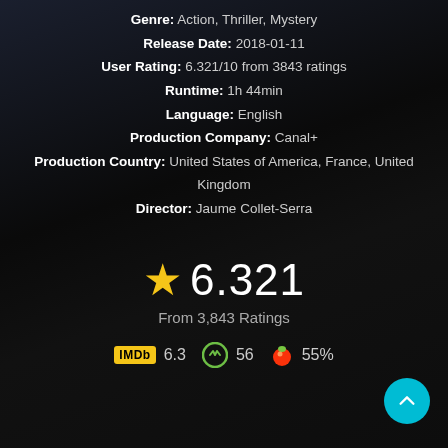Genre: Action, Thriller, Mystery
Release Date: 2018-01-11
User Rating: 6.321/10 from 3843 ratings
Runtime: 1h 44min
Language: English
Production Company: Canal+
Production Country: United States of America, France, United Kingdom
Director: Jaume Collet-Serra
★ 6.321
From 3,843 Ratings
IMDb 6.3  56  55%